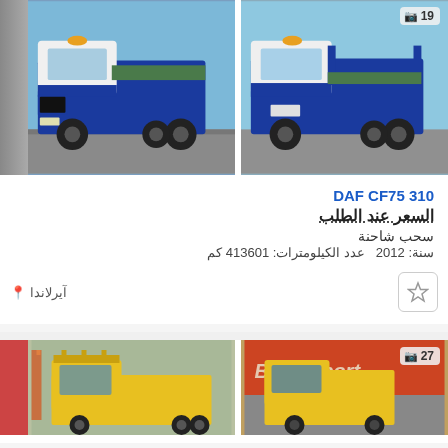[Figure (photo): Two photos of a blue and white DAF CF75 310 flatbed/transporter truck]
DAF CF75 310
السعر عند الطلب
سحب شاحنة
سنة: 2012  عدد الكيلومترات: 413601 كم
آيرلاندا
[Figure (photo): Two photos of a yellow heavy truck/tipper, second photo shows BSMexport building in background, badge showing 27 photos]